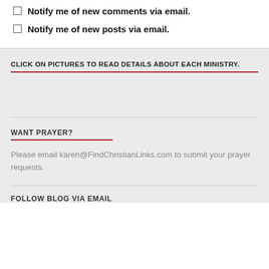Notify me of new comments via email.
Notify me of new posts via email.
CLICK ON PICTURES TO READ DETAILS ABOUT EACH MINISTRY.
WANT PRAYER?
Please email karen@FindChristianLinks.com to submit your prayer requests.
FOLLOW BLOG VIA EMAIL